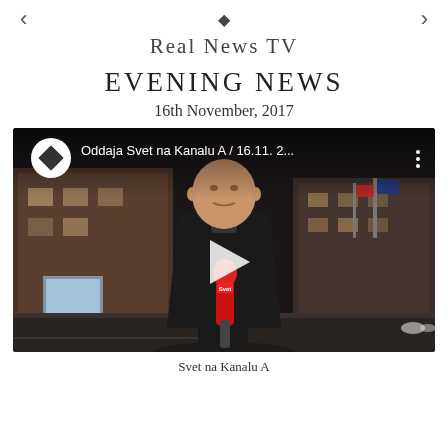< ♦ >
Real News TV
EVENING NEWS
16th November, 2017
[Figure (screenshot): Video thumbnail showing a TV news reporter standing on a street at night holding a red microphone branded 'Svet', with a building in the background. The video player shows a YouTube-style interface with title 'Oddaja Svet na Kanalu A / 16.11. 2...' and a play button in the center.]
Svet na Kanalu A